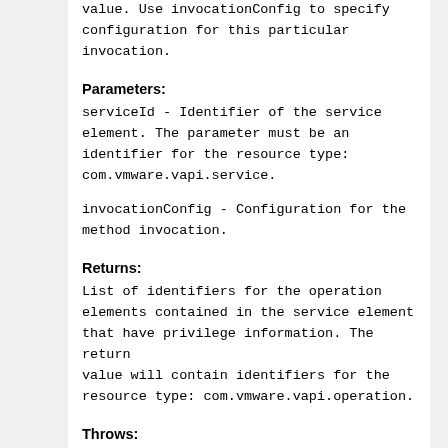value. Use invocationConfig to specify configuration for this particular invocation.
Parameters:
serviceId - Identifier of the service element. The parameter must be an identifier for the resource type: com.vmware.vapi.service.
invocationConfig - Configuration for the method invocation.
Returns:
List of identifiers for the operation elements contained in the service element that have privilege information. The return value will contain identifiers for the resource type: com.vmware.vapi.operation.
Throws:
NotFound - if the service element associated with serviceId does not have any operation elements that have privilege information.